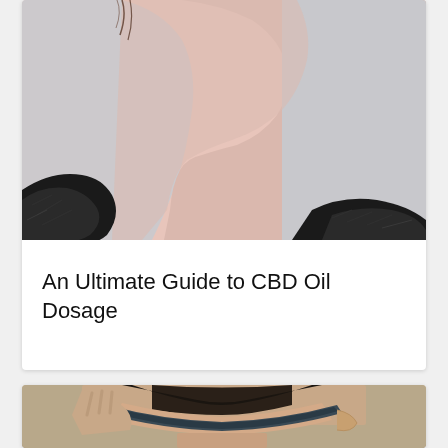[Figure (photo): Close-up side profile photo of a person's neck and lower face, wearing black fur or feathered garment, against a light gray background]
An Ultimate Guide to CBD Oil Dosage
[Figure (photo): Photo of a man's head from above/front with hand on head and what appears to be a sleep mask or band across forehead, against beige background]